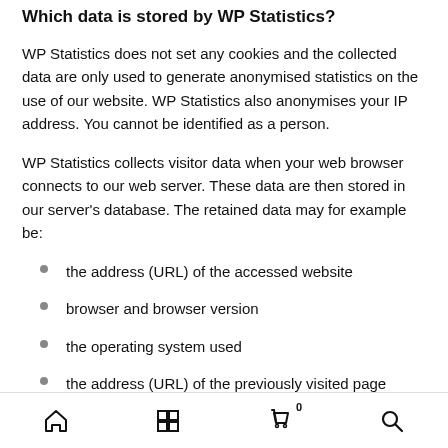Which data is stored by WP Statistics?
WP Statistics does not set any cookies and the collected data are only used to generate anonymised statistics on the use of our website. WP Statistics also anonymises your IP address. You cannot be identified as a person.
WP Statistics collects visitor data when your web browser connects to our web server. These data are then stored in our server's database. The retained data may for example be:
the address (URL) of the accessed website
browser and browser version
the operating system used
the address (URL) of the previously visited page (referrer